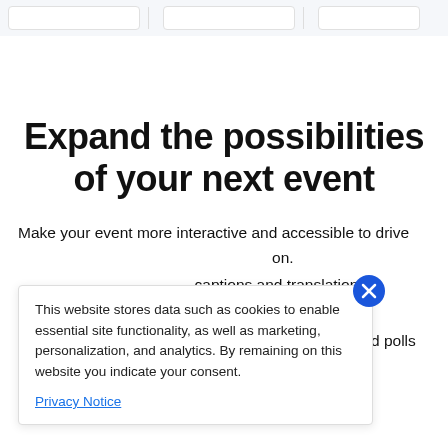[Figure (screenshot): Top strip with three card stubs on a light grey background]
Expand the possibilities of your next event
Make your event more interactive and accessible to drive [attendee satisfaction and engagement].
This website stores data such as cookies to enable essential site functionality, as well as marketing, personalization, and analytics. By remaining on this website you indicate your consent.
Privacy Notice
[...] captions and translations
[...] boration tools
Engage your attendees with games, quizzes, and polls